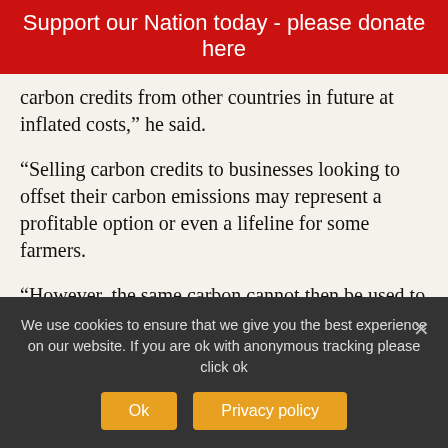Support our Nation today - please donate here
carbon credits from other countries in future at inflated costs,” he said.
“Selling carbon credits to businesses looking to offset their carbon emissions may represent a profitable option or even a lifeline for some farmers.
“However, the same carbon cannot then be used to offset a farm’s own carbon emissions, and members are concerned that a rush to sell off carbon could hamper future generations’ ability to meet net-zero targets."
We use cookies to ensure that we give you the best experience on our website. If you are ok with anonymous tracking please click ok